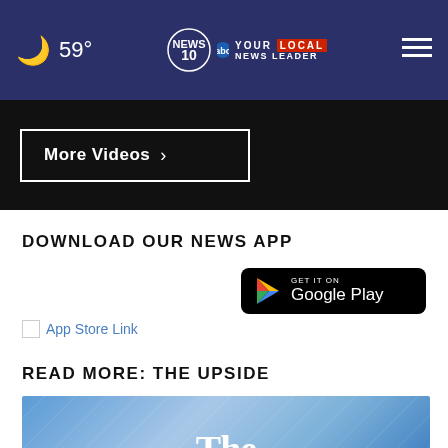59° NEWS 10 YOUR LOCAL NEWS LEADER
More Videos ›
DOWNLOAD OUR NEWS APP
[Figure (logo): Google Play badge - GET IT ON Google Play]
App Store Link
READ MORE: THE UPSIDE
[Figure (photo): The Upside news segment thumbnail with blue background and large white text reading 'The']